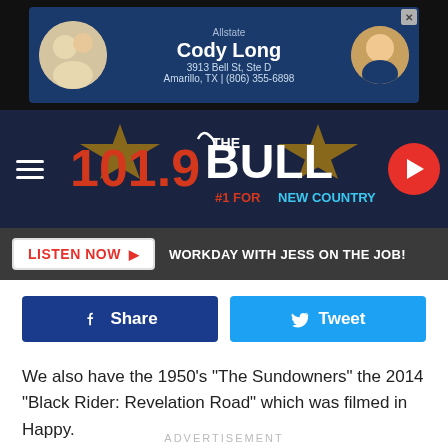[Figure (screenshot): Allstate advertisement banner for Cody Long, 3913 Bell St, Ste D, Amarillo, TX | (806) 355-6898]
[Figure (logo): 101.9 The Bull radio station header with hamburger menu and play button]
[Figure (infographic): LISTEN NOW button with text WORKDAY WITH JESS ON THE JOB!]
[Figure (infographic): Facebook Share button and Twitter Tweet button]
We also have the 1950's "The Sundowners" the 2014 "Black Rider: Revelation Road" which was filmed in Happy.
ADVERTISEMENT